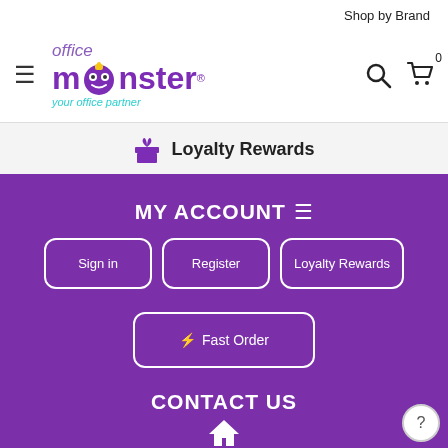Shop by Brand
[Figure (logo): Office Monster logo with purple monster character and tagline 'your office partner']
🎁 Loyalty Rewards
MY ACCOUNT
Sign in
Register
Loyalty Rewards
⚡ Fast Order
CONTACT US